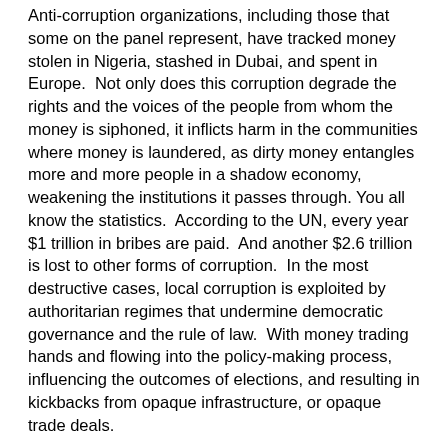Anti-corruption organizations, including those that some on the panel represent, have tracked money stolen in Nigeria, stashed in Dubai, and spent in Europe. Not only does this corruption degrade the rights and the voices of the people from whom the money is siphoned, it inflicts harm in the communities where money is laundered, as dirty money entangles more and more people in a shadow economy, weakening the institutions it passes through. You all know the statistics. According to the UN, every year $1 trillion in bribes are paid. And another $2.6 trillion is lost to other forms of corruption. In the most destructive cases, local corruption is exploited by authoritarian regimes that undermine democratic governance and the rule of law. With money trading hands and flowing into the policy-making process, influencing the outcomes of elections, and resulting in kickbacks from opaque infrastructure, or opaque trade deals.
Fixed price contract bids on water projects in Africa deprive purchaser governments of the benefits of competition and lower prices. An Icelandic fishing company pays millions in bribes to Namibian government officials to secure lucrative fishing quotas in the Atlantic. A British tobacco company coddles bribes through a corrupt political party. It helps keep a strong man lodged firmly in power in Zimbabwe. And like so many other pressing global issues,